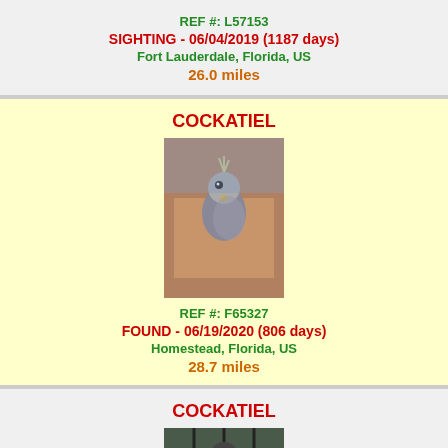REF #: L57153
SIGHTING - 06/04/2019 (1187 days)
Fort Lauderdale, Florida, US
26.0 miles
COCKATIEL
[Figure (photo): Photo of a cockatiel bird being held in a hand]
REF #: F65327
FOUND - 06/19/2020 (806 days)
Homestead, Florida, US
28.7 miles
COCKATIEL
[Figure (photo): Photo of a cockatiel bird, partially visible at bottom of page]